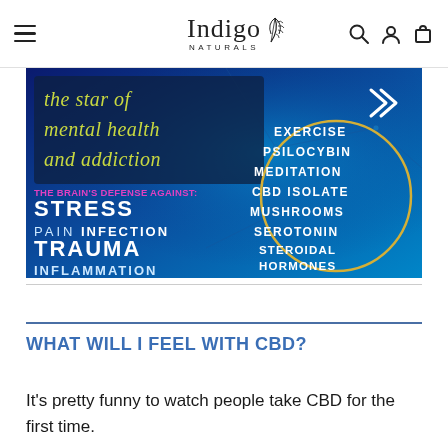Indigo Naturals
[Figure (infographic): Blue background infographic about the brain's defense against mental health challenges. Left side reads in italic yellow text 'the star of mental health and addiction', then bold text 'THE BRAIN'S DEFENSE AGAINST: STRESS, PAIN, INFECTION, TRAUMA, INFLAMMATION'. Right side inside a gold circle lists: EXERCISE, PSILOCYBIN, MEDITATION, CBD ISOLATE, MUSHROOMS, SEROTONIN, STEROIDAL HORMONES.]
WHAT WILL I FEEL WITH CBD?
It's pretty funny to watch people take CBD for the first time.